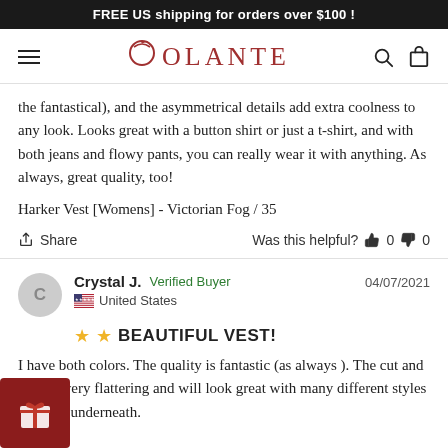FREE US shipping for orders over $100 !
[Figure (logo): Volante brand logo with stylized V and leaf, red/maroon color, with hamburger menu icon on left and search/cart icons on right]
the fantastical), and the asymmetrical details add extra coolness to any look. Looks great with a button shirt or just a t-shirt, and with both jeans and flowy pants, you can really wear it with anything. As always, great quality, too!
Harker Vest [Womens]  -  Victorian Fog / 35
Share   Was this helpful?  0  0
Crystal J.  Verified Buyer   04/07/2021
United States
BEAUTIFUL VEST!
I have both colors. The quality is fantastic (as always ). The cut and style is very flattering and will look great with many different styles of shirts underneath.